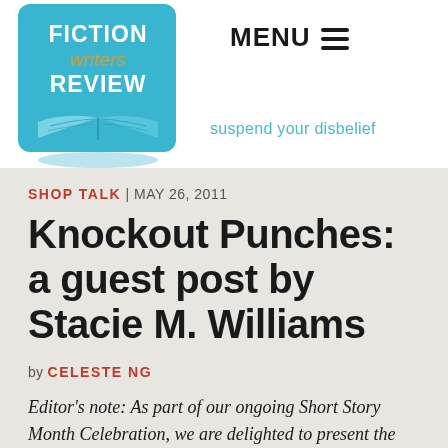FICTION writers REVIEW | suspend your disbelief | MENU
SHOP TALK | MAY 26, 2011
Knockout Punches: a guest post by Stacie M. Williams
by CELESTE NG
Editor's note: As part of our ongoing Short Story Month Celebration, we are delighted to present the following guest post by Stacie M. Williams of Boswell Book Company.